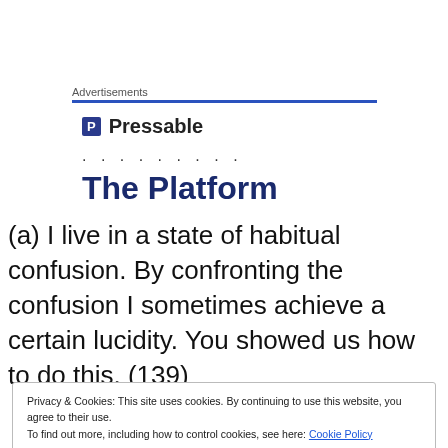[Figure (logo): Pressable advertisement banner with blue line separator, Pressable logo (block P icon and name), dots, and partial 'The Platform' heading text cropped at bottom]
(a) I live in a state of habitual confusion. By confronting the confusion I sometimes achieve a certain lucidity. You showed us how to do this. (139)
Privacy & Cookies: This site uses cookies. By continuing to use this website, you agree to their use.
To find out more, including how to control cookies, see here: Cookie Policy
Close and accept